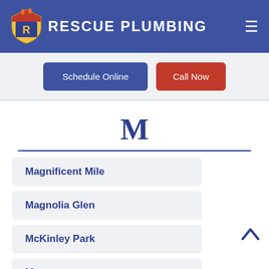RESCUE PLUMBING
Schedule Online | Call Now
M
Magnificent Mile
Magnolia Glen
McKinley Park